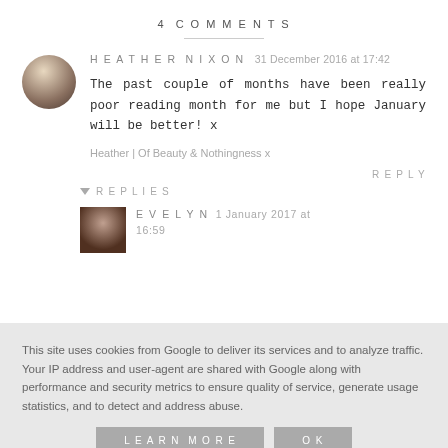4 COMMENTS
HEATHER NIXON   31 December 2016 at 17:42

The past couple of months have been really poor reading month for me but I hope January will be better! x

Heather | Of Beauty & Nothingness x
REPLY
▼ REPLIES
EVELYN   1 January 2017 at 16:59
This site uses cookies from Google to deliver its services and to analyze traffic. Your IP address and user-agent are shared with Google along with performance and security metrics to ensure quality of service, generate usage statistics, and to detect and address abuse.